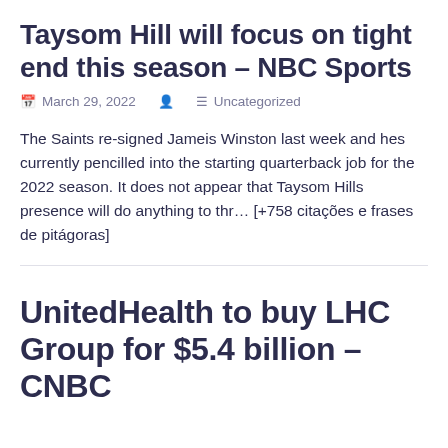Taysom Hill will focus on tight end this season – NBC Sports
📅 March 29, 2022   👤   ≡ Uncategorized
The Saints re-signed Jameis Winston last week and hes currently pencilled into the starting quarterback job for the 2022 season. It does not appear that Taysom Hills presence will do anything to thr… [+758 citações e frases de pitágoras]
UnitedHealth to buy LHC Group for $5.4 billion – CNBC